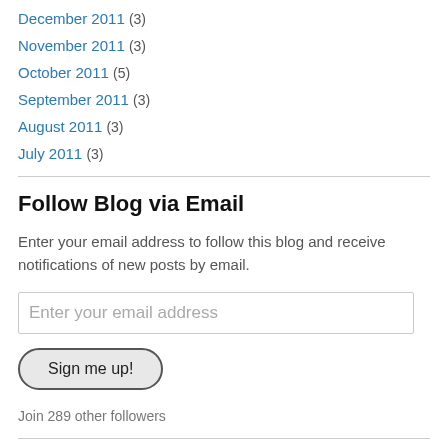December 2011 (3)
November 2011 (3)
October 2011 (5)
September 2011 (3)
August 2011 (3)
July 2011 (3)
Follow Blog via Email
Enter your email address to follow this blog and receive notifications of new posts by email.
Enter your email address
Sign me up!
Join 289 other followers